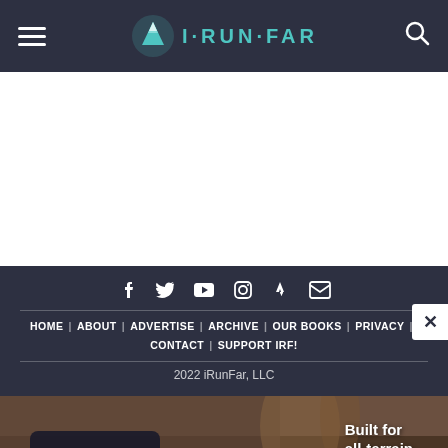iRunFar navigation header with hamburger menu, logo, and search icon
[Figure (logo): iRunFar logo with mountain icon and teal text reading I·RUN·FAR]
[Figure (infographic): Social media icons: Facebook, Twitter, YouTube, Instagram, Strava, Email]
HOME | ABOUT | ADVERTISE | ARCHIVE | OUR BOOKS | PRIVACY | CONTACT | SUPPORT IRF!
2022 iRunFar, LLC
[Figure (photo): Merrell trail running shoe advertisement with text 'Built for all-terrain trail runs.']